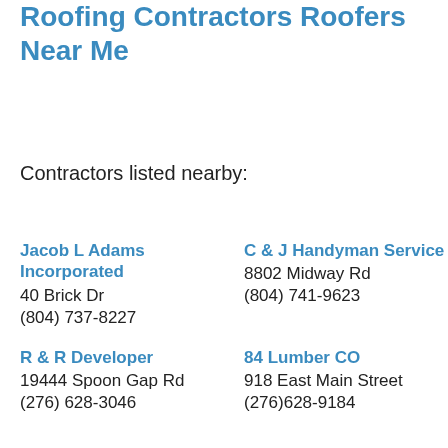Roofing Contractors Roofers Near Me
Contractors listed nearby:
Jacob L Adams Incorporated
40 Brick Dr
(804) 737-8227
C & J Handyman Service
8802 Midway Rd
(804) 741-9623
R & R Developer
19444 Spoon Gap Rd
(276) 628-3046
84 Lumber CO
918 East Main Street
(276)628-9184